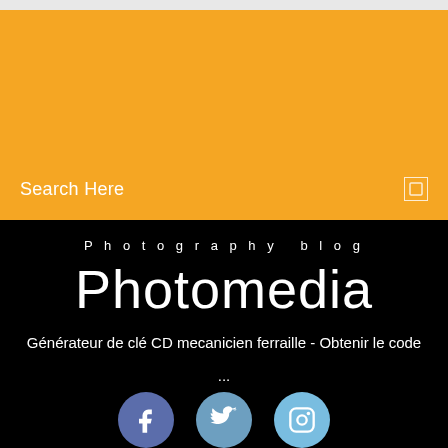[Figure (screenshot): Top gray bar area at the very top of the page]
[Figure (screenshot): Yellow/orange advertisement area with blank space]
Search Here
Photography blog
Photomedia
Générateur de clé CD mecanicien ferraille - Obtenir le code
...
[Figure (screenshot): Three social media icon circles: Facebook (f), Twitter (bird), Instagram (camera icon)]